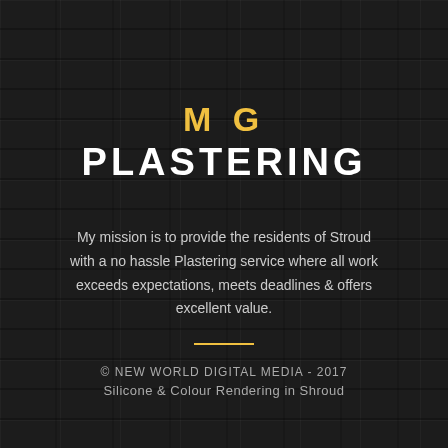MG PLASTERING
My mission is to provide the residents of Stroud with a no hassle Plastering service where all work exceeds expectations, meets deadlines & offers excellent value.
© NEW WORLD DIGITAL MEDIA - 2017
Silicone & Colour Rendering in Shroud